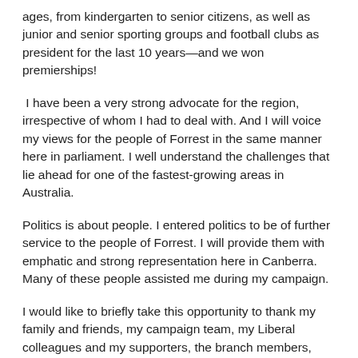ages, from kindergarten to senior citizens, as well as junior and senior sporting groups and football clubs as president for the last 10 years—and we won premierships!
I have been a very strong advocate for the region, irrespective of whom I had to deal with. And I will voice my views for the people of Forrest in the same manner here in parliament. I well understand the challenges that lie ahead for one of the fastest-growing areas in Australia.
Politics is about people. I entered politics to be of further service to the people of Forrest. I will provide them with emphatic and strong representation here in Canberra. Many of these people assisted me during my campaign.
I would like to briefly take this opportunity to thank my family and friends, my campaign team, my Liberal colleagues and my supporters, the branch members, and those in the wider community, particularly those who were with me from day one. Thank you all most sincerely